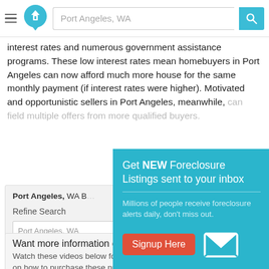Port Angeles, WA [search bar]
interest rates and numerous government assistance programs. These low interest rates mean homebuyers in Port Angeles can now afford much more house for the same monthly payment (if interest rates were higher). Motivated and opportunistic sellers in Port Angeles, meanwhile, can field multiple offers from more qualified buyers.
Port Angeles, WA B... / Refine Search / Port Angeles, WA
[Figure (screenshot): Popup modal: Get NEW Foreclosure Listings sent to your inbox. Millions of people receive foreclosure alerts daily, don't miss out. Signup Here button. No Thanks | Remind Me Later links. Email/envelope icon.]
Want more information on listings?
Watch these videos below for more details on how to purchase these properties.